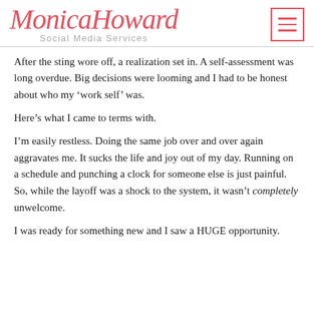MonicaHoward Social Media Services
After the sting wore off, a realization set in. A self-assessment was long overdue. Big decisions were looming and I had to be honest about who my ‘work self’ was.
Here’s what I came to terms with.
I’m easily restless. Doing the same job over and over again aggravates me. It sucks the life and joy out of my day. Running on a schedule and punching a clock for someone else is just painful. So, while the layoff was a shock to the system, it wasn’t completely unwelcome.
I was ready for something new and I saw a HUGE opportunity.